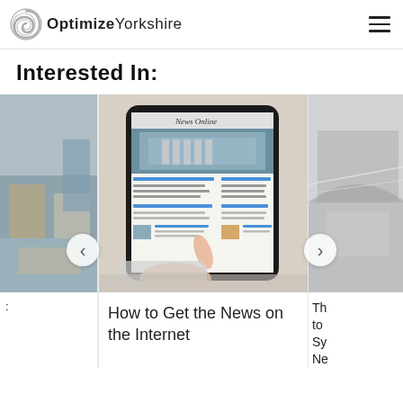OptimizeYorkshire
Interested In:
[Figure (photo): Left partial card with interior room photo]
[Figure (photo): Center card: hand holding tablet showing News Online website]
How to Get the News on the Internet
[Figure (photo): Right partial card with car/vehicle photo, truncated title starting with Th to Sy Ne]
Th to Sy Ne